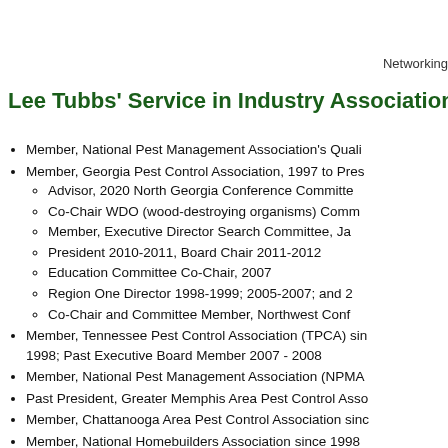Networking
Lee Tubbs' Service in Industry Associations
Member, National Pest Management Association's Quality Pro program
Member, Georgia Pest Control Association, 1997 to Present
Advisor, 2020 North Georgia Conference Committee
Co-Chair WDO (wood-destroying organisms) Committee
Member, Executive Director Search Committee, January 2020
President 2010-2011, Board Chair 2011-2012
Education Committee Co-Chair, 2007
Region One Director 1998-1999; 2005-2007; and 2009-2011
Co-Chair and Committee Member, Northwest Conference
Member, Tennessee Pest Control Association (TPCA) since 1998; Past Executive Board Member 2007 - 2008
Member, National Pest Management Association (NPMA)
Past President, Greater Memphis Area Pest Control Association
Member, Chattanooga Area Pest Control Association since
Member, National Homebuilders Association since 1998